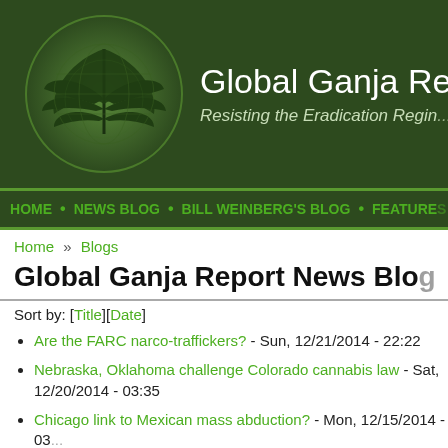[Figure (logo): Global Ganja Report website header with cannabis leaf logo on dark green background. Title reads 'Global Ganja Report' with subtitle 'Resisting the Eradication Regime']
Home • News Blog • Bill Weinberg's blog • Features
Home » Blogs
Global Ganja Report News Blog
Sort by: [Title][Date]
Are the FARC narco-traffickers? - Sun, 12/21/2014 - 22:22
Nebraska, Oklahoma challenge Colorado cannabis law - Sat, 12/20/2014 - 03:35
Chicago link to Mexican mass abduction? - Mon, 12/15/2014 - 03:...
Restriction on medical marijuana enforcement in omnibus budget - Wed, 12/10/2014 - 00:00